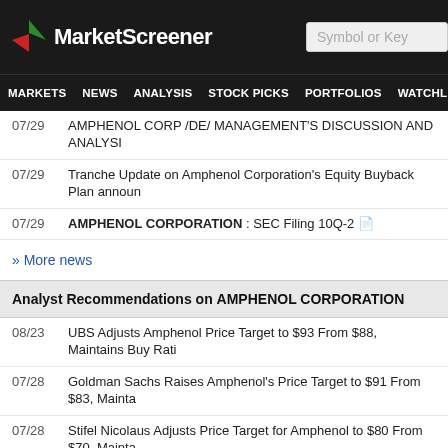MarketScreener
07/29 AMPHENOL CORP /DE/ MANAGEMENT'S DISCUSSION AND ANALYSIS
07/29 Tranche Update on Amphenol Corporation's Equity Buyback Plan announced
07/29 AMPHENOL CORPORATION : SEC Filing 10Q-2
» More news
Analyst Recommendations on AMPHENOL CORPORATION
08/23 UBS Adjusts Amphenol Price Target to $93 From $88, Maintains Buy Rati
07/28 Goldman Sachs Raises Amphenol's Price Target to $91 From $83, Mainta
07/28 Stifel Nicolaus Adjusts Price Target for Amphenol to $80 From $70, Mainta
» More recommendations